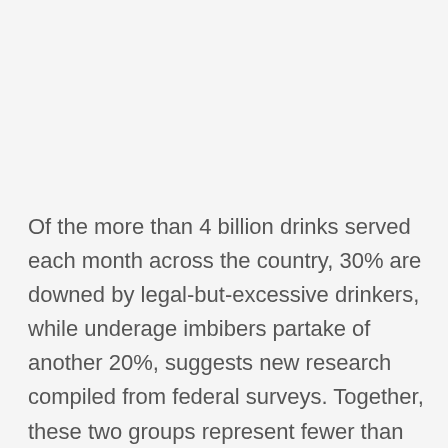Of the more than 4 billion drinks served each month across the country, 30% are downed by legal-but-excessive drinkers, while underage imbibers partake of another 20%, suggests new research compiled from federal surveys. Together, these two groups represent fewer than one in four of all American alcohol consumers.